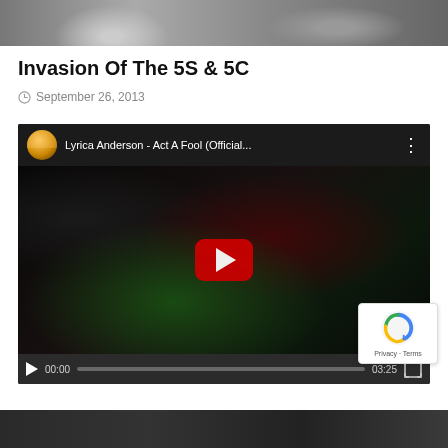[Figure (photo): Top cropped photo showing people in dark clothing]
Invasion Of The 5S & 5C
September 26, 2013
[Figure (screenshot): YouTube video embed: Lyrica Anderson - Act A Fool (Official... with play button, progress bar showing 00:00 / 03:25]
[Figure (photo): Bottom cropped image, partially visible]